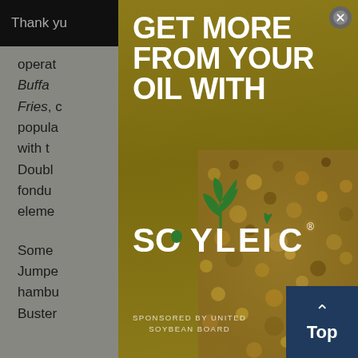Thank you... tools you
operat... n as Buffalo... room Fries, c... popula... mplers with t... Doubl... els, fondu... eleme...
Some... aim Jumpe... hambu... Buster...
[Figure (infographic): Modal advertisement popup with golden/olive background. Headline reads 'GET MORE FROM YOUR OIL WITH' in large white bold uppercase text. Below is the Soyleic logo featuring a green plant/sprout icon above the word SOYLEIC in white uppercase letters with a leaf replacing the I. Text at bottom reads 'SPONSORED BY UNITED SOYBEAN BOARD'. Lower right portion shows a close-up photo of fried breaded food with texture detail. Upper right corner has a close (X) button.]